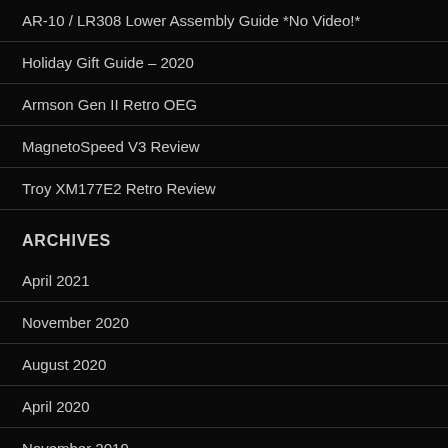AR-10 / LR308 Lower Assembly Guide *No Video!*
Holiday Gift Guide – 2020
Armson Gen II Retro OEG
MagnetoSpeed V3 Review
Troy XM177E2 Retro Review
ARCHIVES
April 2021
November 2020
August 2020
April 2020
November 2019